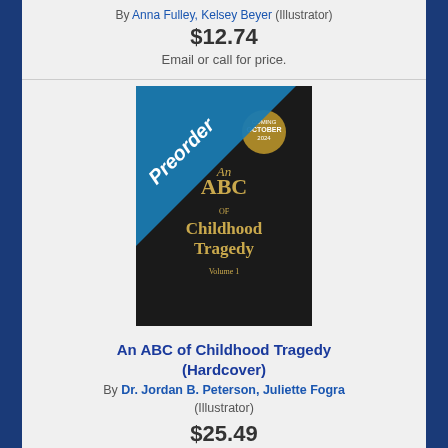By Anna Fulley, Kelsey Beyer (Illustrator)
$12.74
Email or call for price.
[Figure (photo): Book cover of 'An ABC of Childhood Tragedy Volume 1' with a dark leather-look cover and gold text, with a Preorder diagonal banner overlay]
An ABC of Childhood Tragedy (Hardcover)
By Dr. Jordan B. Peterson, Juliette Fogra (Illustrator)
$25.49
Add to Cart
Add to Wish List
Coming Soon - Available for Pre-Order Now
[Figure (photo): Book cover of 'Calm The F*ck Down! A Covid Bedtime Story']